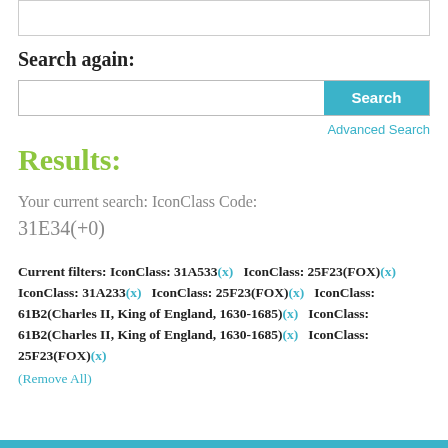[Figure (screenshot): Top portion of a search interface box, partially visible at the top of the page]
Search again:
[Figure (screenshot): Search input bar with a cyan 'Search' button on the right]
Advanced Search
Results:
Your current search: IconClass Code: 31E34(+0)
Current filters: IconClass: 31A533(x)  IconClass: 25F23(FOX)(x)  IconClass: 31A233(x)  IconClass: 25F23(FOX)(x)  IconClass: 61B2(Charles II, King of England, 1630-1685)(x)  IconClass: 61B2(Charles II, King of England, 1630-1685)(x)  IconClass: 25F23(FOX)(x)  (Remove All)